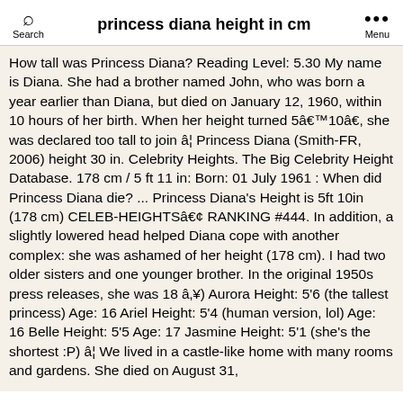princess diana height in cm
How tall was Princess Diana? Reading Level: 5.30 My name is Diana. She had a brother named John, who was born a year earlier than Diana, but died on January 12, 1960, within 10 hours of her birth. When her height turned 5â€™10â€, she was declared too tall to join â¦ Princess Diana (Smith-FR, 2006) height 30 in. Celebrity Heights. The Big Celebrity Height Database. 178 cm / 5 ft 11 in: Born: 01 July 1961 : When did Princess Diana die? ... Princess Diana's Height is 5ft 10in (178 cm) CELEB-HEIGHTSâ€¢ RANKING #444. In addition, a slightly lowered head helped Diana cope with another complex: she was ashamed of her height (178 cm). I had two older sisters and one younger brother. In the original 1950s press releases, she was 18 â‚¥) Aurora Height: 5'6 (the tallest princess) Age: 16 Ariel Height: 5'4 (human version, lol) Age: 16 Belle Height: 5'5 Age: 17 Jasmine Height: 5'1 (she's the shortest :P) â¦ We lived in a castle-like home with many rooms and gardens. She died on August 31,